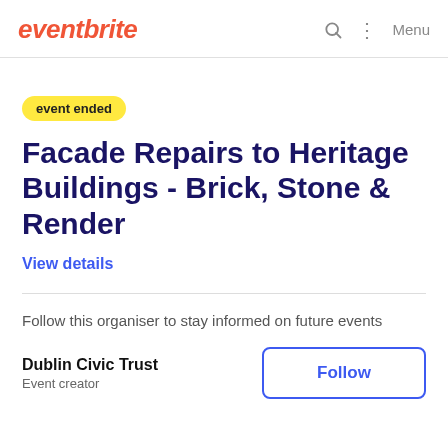eventbrite
event ended
Facade Repairs to Heritage Buildings - Brick, Stone & Render
View details
Follow this organiser to stay informed on future events
Dublin Civic Trust
Event creator
Follow